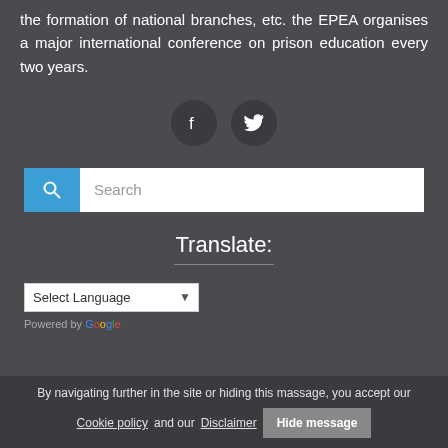the formation of national branches, etc. the EPEA organises a major international conference on prison education every two years.
[Figure (other): Social media icons: Facebook and Twitter circular dark buttons]
[Figure (other): Search bar with blue search button icon and white input field with placeholder text 'Search']
Translate:
[Figure (other): Google Translate widget with Select Language dropdown and Powered by Google label]
By navigating further in the site or hiding this massage, you accept our Cookie policy and our Disclaimer
Hide message